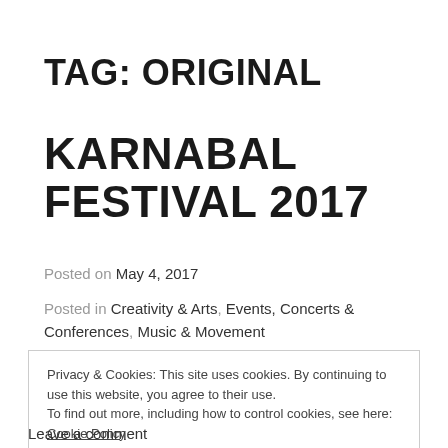TAG: ORIGINAL
KARNABAL FESTIVAL 2017
Posted on May 4, 2017
Posted in Creativity & Arts, Events, Concerts & Conferences, Music & Movement
Privacy & Cookies: This site uses cookies. By continuing to use this website, you agree to their use.
To find out more, including how to control cookies, see here: Cookie Policy
Close and accept
Leave a comment